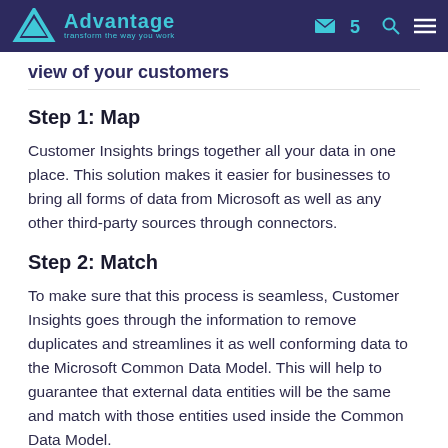Advantage – transform the way you work
view of your customers
Step 1: Map
Customer Insights brings together all your data in one place. This solution makes it easier for businesses to bring all forms of data from Microsoft as well as any other third-party sources through connectors.
Step 2: Match
To make sure that this process is seamless, Customer Insights goes through the information to remove duplicates and streamlines it as well conforming data to the Microsoft Common Data Model. This will help to guarantee that external data entities will be the same and match with those entities used inside the Common Data Model.